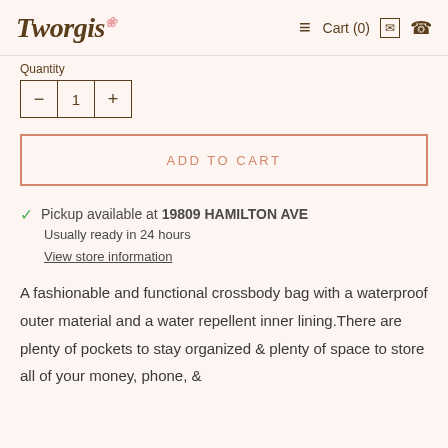Tworgis  Cart (0)
Quantity
— 1 +
ADD TO CART
Pickup available at 19809 HAMILTON AVE
Usually ready in 24 hours
View store information
A fashionable and functional crossbody bag with a waterproof outer material and a water repellent inner lining.There are plenty of pockets to stay organized & plenty of space to store all of your money, phone, &